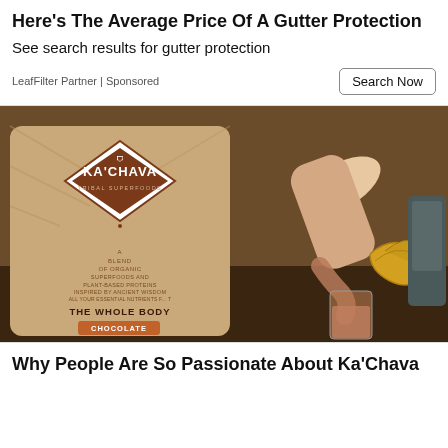Here's The Average Price Of A Gutter Protection
See search results for gutter protection
LeafFilter Partner | Sponsored
[Figure (photo): Ka'Chava Tribal Superfoods chocolate protein powder bag with a person pouring a chocolate shake into a glass, with bananas in the background.]
Why People Are So Passionate About Ka'Chava